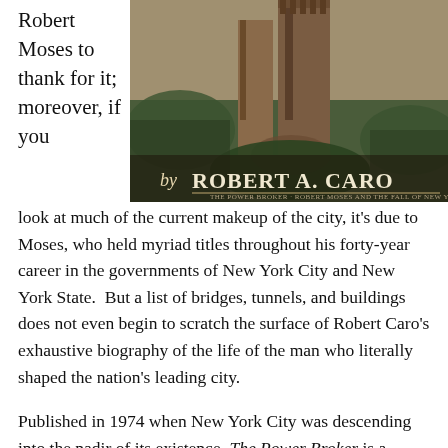Robert Moses to thank for it; moreover, if you
[Figure (illustration): Book cover of 'The Power Broker' by Robert A. Caro, showing an illustrated urban/architectural scene in earth tones with the author's name displayed prominently at the bottom.]
look at much of the current makeup of the city, it's due to Moses, who held myriad titles throughout his forty-year career in the governments of New York City and New York State.  But a list of bridges, tunnels, and buildings does not even begin to scratch the surface of Robert Caro's exhaustive biography of the life of the man who literally shaped the nation's leading city.
Published in 1974 when New York City was descending into the nadir of its existence, The Power Broker is a thorough look at Robert Moses' life and a treatise on the